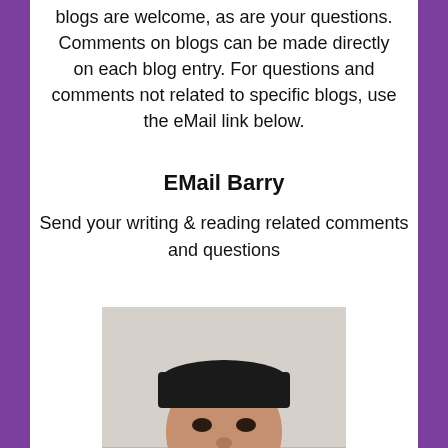blogs are welcome, as are your questions. Comments on blogs can be made directly on each blog entry. For questions and comments not related to specific blogs, use the eMail link below.
EMail Barry
Send your writing & reading related comments and questions
[Figure (photo): Portrait photo of a middle-aged man with a beard wearing a black cap and black turtleneck, photographed outdoors]